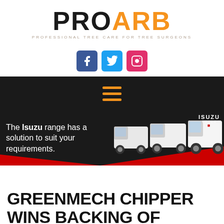PROARB — PROFESSIONAL TREE CARE FOR TREE SURGEONS
[Figure (logo): PROARB logo with tagline: PROFESSIONAL TREE CARE FOR TREE SURGEONS, followed by Facebook, Twitter, and Instagram social media icon buttons]
[Figure (infographic): Dark navigation bar with hamburger menu icon (three orange lines)]
[Figure (photo): Isuzu Truck advertisement banner with text: The Isuzu range has a solution to suit your requirements. Shows three white Isuzu trucks on dark background with red sweep, Isuzu Truck logo top right.]
GREENMECH CHIPPER WINS BACKING OF